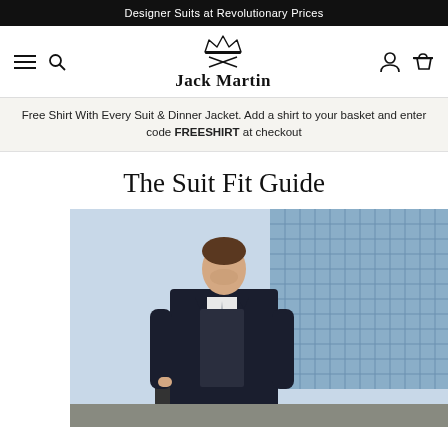Designer Suits at Revolutionary Prices
[Figure (logo): Jack Martin logo with crown and crossed swords above the brand name]
Free Shirt With Every Suit & Dinner Jacket. Add a shirt to your basket and enter code FREESHIRT at checkout
The Suit Fit Guide
[Figure (photo): Man wearing a dark navy three-piece suit with white shirt and grey tie, standing outdoors in front of a glass building, looking downward]